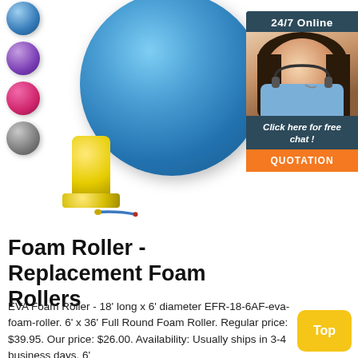[Figure (photo): Blue exercise/yoga ball (main large image) with color swatches (blue, purple, pink, gray) on the left, and a yellow foot pump with blue hose below]
[Figure (infographic): 24/7 Online chat widget showing a woman with headset smiling, with 'Click here for free chat!' text and an orange QUOTATION button]
Foam Roller - Replacement Foam Rollers
EVA Foam Roller - 18' long x 6' diameter EFR-18-6AF-eva-foam-roller. 6' x 36' Full Round Foam Roller. Regular price: $39.95. Our price: $26.00. Availability: Usually ships in 3-4 business days. 6'